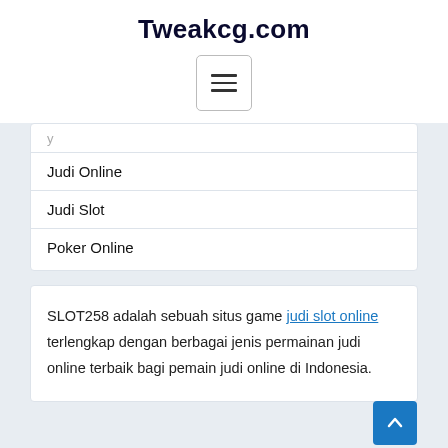Tweakcg.com
[Figure (other): Hamburger menu button icon with three horizontal lines]
Judi Online
Judi Slot
Poker Online
SLOT258 adalah sebuah situs game judi slot online terlengkap dengan berbagai jenis permainan judi online terbaik bagi pemain judi online di Indonesia.